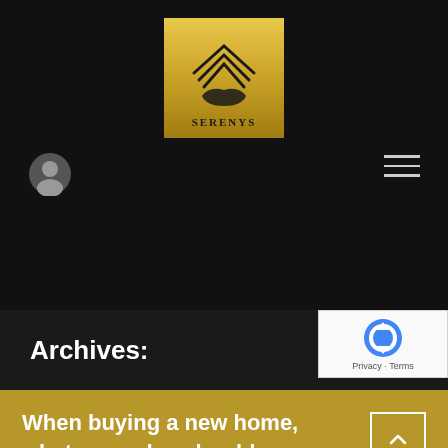[Figure (logo): Serenys logo — gold square background with triangular house/roof icon made of dark lines at top, a hand silhouette below it, and the text SERENYS in dark serif letters at the bottom]
[Figure (other): User account icon — circular grey icon with person silhouette]
[Figure (other): Hamburger menu icon — three horizontal lines]
Archives:
[Figure (other): reCAPTCHA badge — blue circular arrow logo with Privacy and Terms text]
When buying a new home, what upgrades should we go for? What holds the most value? Do we